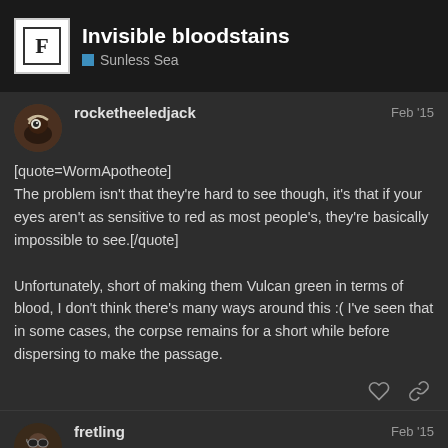Invisible bloodstains — Sunless Sea
[quote=WormApotheote] The problem isn't that they're hard to see though, it's that if your eyes aren't as sensitive to red as most people's, they're basically impossible to see.[/quote]
Unfortunately, short of making them Vulcan green in terms of blood, I don't think there's many ways around this :( I've seen that in some cases, the corpse remains for a short while before dispersing to make the passage.
fretling — Feb '15
I think a more prolonged bubbling/flaming
5 / 14